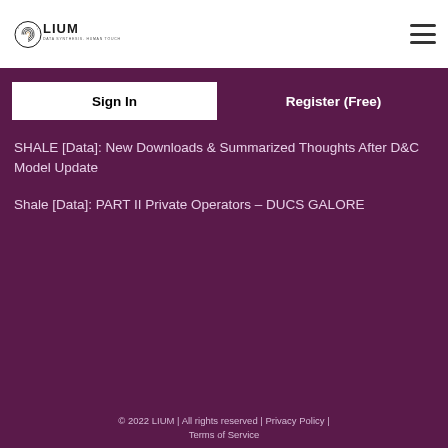[Figure (logo): LIUM logo with fingerprint icon and text 'LIUM DATA SYNTHESIS. HUMAN TOUCH']
Sign In
Register (Free)
SHALE [Data]: New Downloads & Summarized Thoughts After D&C Model Update
Shale [Data]: PART II Private Operators – DUCS GALORE
© 2022 LIUM | All rights reserved | Privacy Policy | Terms of Service